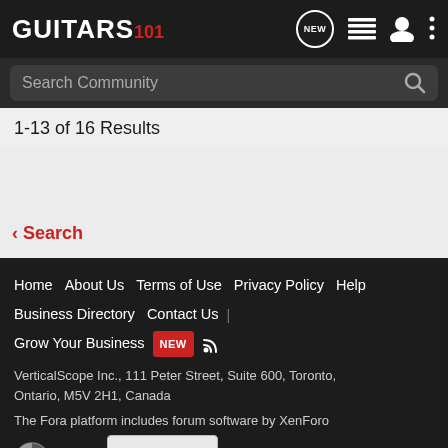GUITARS 101
Search Community
1-13 of 16 Results
< Search
Home | About Us | Terms of Use | Privacy Policy | Help | Business Directory | Contact Us | Grow Your Business NEW
VerticalScope Inc., 111 Peter Street, Suite 600, Toronto, Ontario, M5V 2H1, Canada
The Fora platform includes forum software by XenForo